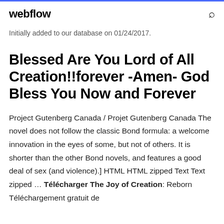webflow
Initially added to our database on 01/24/2017.
Blessed Are You Lord of All Creation!!forever -Amen- God Bless You Now and Forever
Project Gutenberg Canada / Projet Gutenberg Canada The novel does not follow the classic Bond formula: a welcome innovation in the eyes of some, but not of others. It is shorter than the other Bond novels, and features a good deal of sex (and violence).] HTML HTML zipped Text Text zipped … Télécharger The Joy of Creation: Reborn Téléchargement gratuit de